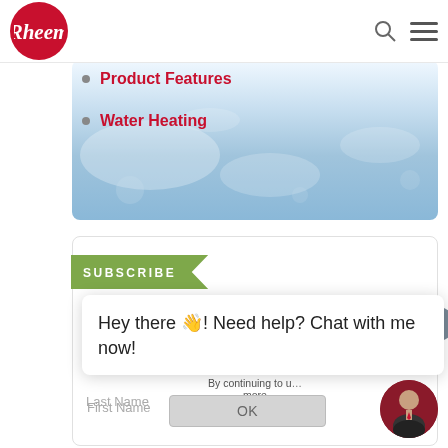Rheem — Product Features · Water Heating
Product Features
Water Heating
SUBSCRIBE
Email Address *
By continuing to u… more
First Name
OK
Last Name
Hey there 👋! Need help? Chat with me now!